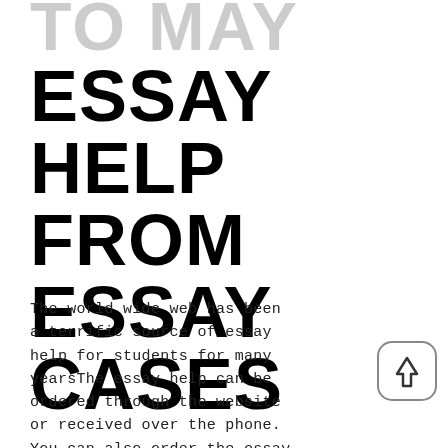TO MAY ESSAY HELP FROM ESSAY CASES
The world wide web has been a terrific source of essay help for students for many yearsThe essay help can be ordered through the website or received over the phone. You can also order the essay help via email, being in
[Figure (illustration): Rounded square button with an upward arrow icon]